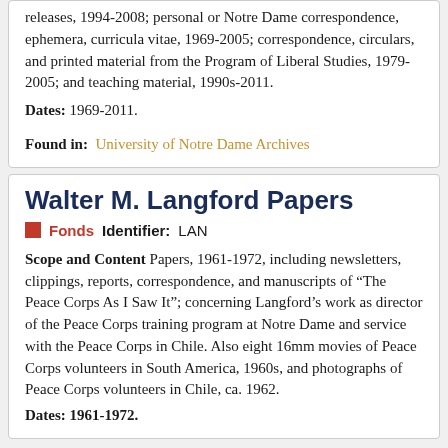releases, 1994-2008; personal or Notre Dame correspondence, ephemera, curricula vitae, 1969-2005; correspondence, circulars, and printed material from the Program of Liberal Studies, 1979-2005; and teaching material, 1990s-2011.
Dates: 1969-2011.
Found in:  University of Notre Dame Archives
Walter M. Langford Papers
Fonds    Identifier: LAN
Scope and Content Papers, 1961-1972, including newsletters, clippings, reports, correspondence, and manuscripts of "The Peace Corps As I Saw It"; concerning Langford's work as director of the Peace Corps training program at Notre Dame and service with the Peace Corps in Chile. Also eight 16mm movies of Peace Corps volunteers in South America, 1960s, and photographs of Peace Corps volunteers in Chile, ca. 1962.
Dates: 1961-1972.